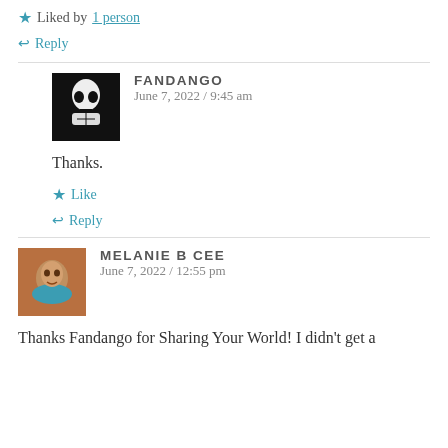Liked by 1 person
↩ Reply
FANDANGO — June 7, 2022 / 9:45 am
Thanks.
★ Like
↩ Reply
MELANIE B CEE — June 7, 2022 / 12:55 pm
Thanks Fandango for Sharing Your World! I didn't get a